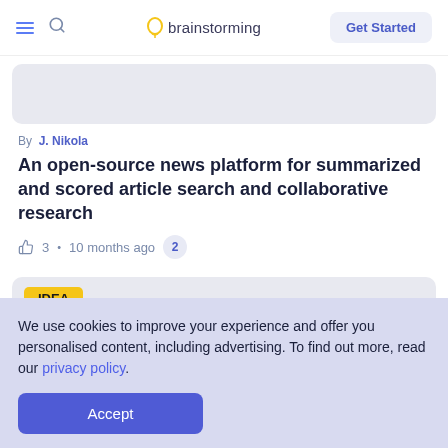brainstorming — Get Started
[Figure (illustration): Light gray banner/image placeholder area at top of article]
By J. Nikola
An open-source news platform for summarized and scored article search and collaborative research
3 · 10 months ago  2
[Figure (illustration): Second card with IDEA badge label in yellow]
We use cookies to improve your experience and offer you personalised content, including advertising. To find out more, read our privacy policy.